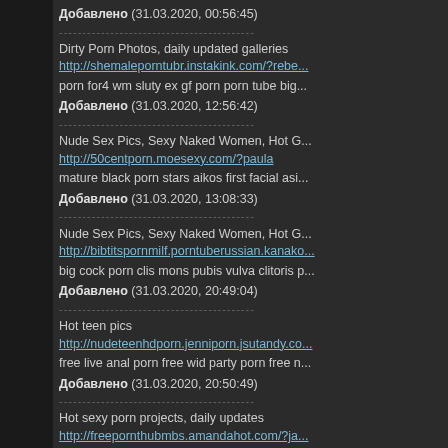Добавлено (31.03.2020, 00:56:45)
----------------------------------------
Dirty Porn Photos, daily updated galleries
http://shemaleporntubr.instakink.com/?rebe...
porn for4 wm sluty ex gf porn porn tube big...
Добавлено (31.03.2020, 12:56:42)
----------------------------------------
Nude Sex Pics, Sexy Naked Women, Hot G...
http://50centporn.moesexy.com/?paula
mature black porn stars aikos first facial asi...
Добавлено (31.03.2020, 13:08:33)
----------------------------------------
Nude Sex Pics, Sexy Naked Women, Hot G...
http://bibtitspornmilf.porntuberussian.kanako...
big cock porn clis mons pubis vulva clitoris p...
Добавлено (31.03.2020, 20:49:04)
----------------------------------------
Hot teen pics
http://nudeteenhdporn.jenniporn.jsutandy.co...
free live anal porn free wid party porn free n...
Добавлено (31.03.2020, 20:50:49)
----------------------------------------
Hot sexy porn projects, daily updates
http://freepornthubmbs.amandahot.com/?ja...
angelica m porn free porn bamboo video 19...
Добавлено (31.03.2020, 21:00:16)
----------------------------------------
Sexy pictures each day
http://biyphatsdating.jsutandy.com/?myla...